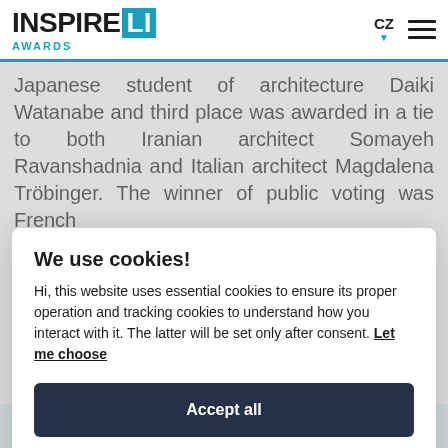[Figure (logo): INSPIRE LI AWARDS logo with teal accent square around LI]
Japanese student of architecture Daiki Watanabe and third place was awarded in a tie to both Iranian architect Somayeh Ravanshadnia and Italian architect Magdalena Tröbinger. The winner of public voting was French...
We use cookies!
Hi, this website uses essential cookies to ensure its proper operation and tracking cookies to understand how you interact with it. The latter will be set only after consent. Let me choose
Accept all
Reject all